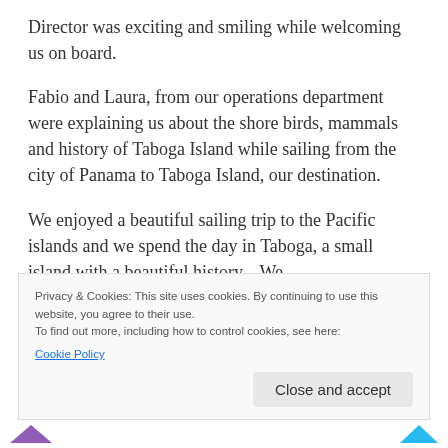Director was exciting and smiling while welcoming us on board.
Fabio and Laura, from our operations department were explaining us about the shore birds, mammals and history of Taboga Island while sailing from the city of Panama to Taboga Island, our destination.
We enjoyed a beautiful sailing trip to the Pacific islands and we spend the day in Taboga, a small island with a beautiful history.   We
Privacy & Cookies: This site uses cookies. By continuing to use this website, you agree to their use.
To find out more, including how to control cookies, see here:
Cookie Policy
Close and accept